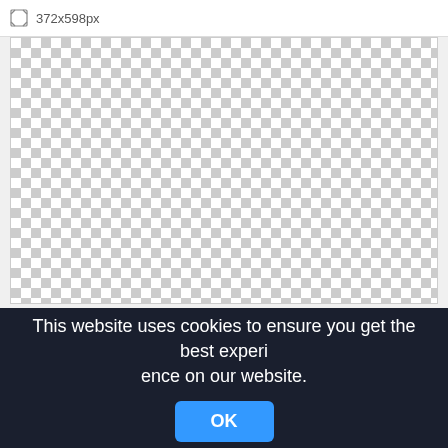372x598px
[Figure (other): Transparent checkerboard pattern area representing an image placeholder (372x598px)]
This website uses cookies to ensure you get the best experience on our website.